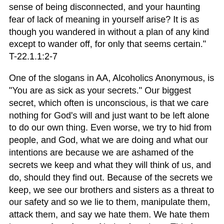sense of being disconnected, and your haunting fear of lack of meaning in yourself arise? It is as though you wandered in without a plan of any kind except to wander off, for only that seems certain." T-22.1.1:2-7
One of the slogans in AA, Alcoholics Anonymous, is "You are as sick as your secrets." Our biggest secret, which often is unconscious, is that we care nothing for God's will and just want to be left alone to do our own thing. Even worse, we try to hid from people, and God, what we are doing and what our intentions are because we are ashamed of the secrets we keep and what they will think of us, and do, should they find out. Because of the secrets we keep, we see our brothers and sisters as a threat to our safety and so we lie to them, manipulate them, attack them, and say we hate them. We hate them because of our fears of being found out. This fear of being found out robs us of our peace and joy.
Honesty is the best policy. We should strive for authenticity, genuineness, and sincerity. This striving is manifested in our discerning and attempting to do God's will for us. In the great Christian prayer, the "Our Father," we pray "Thy kingdom